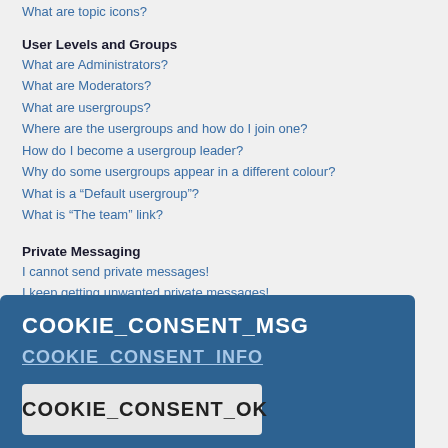What are topic icons?
User Levels and Groups
What are Administrators?
What are Moderators?
What are usergroups?
Where are the usergroups and how do I join one?
How do I become a usergroup leader?
Why do some usergroups appear in a different colour?
What is a “Default usergroup”?
What is “The team” link?
Private Messaging
I cannot send private messages!
I keep getting unwanted private messages!
I have received a spamming or abusive email from someone on this board!
Friends and Foes
What are my Friends and Foes lists?
How do I add / remove users to my Friends or Foes list?
Searching the Forums
How can I search a forum or forums?
Why does my search return no results?
Why does my search return a blank page!?
How do I search for members?
How can I find my own posts and topics?
COOKIE_CONSENT_MSG
COOKIE_CONSENT_INFO
COOKIE_CONSENT_OK